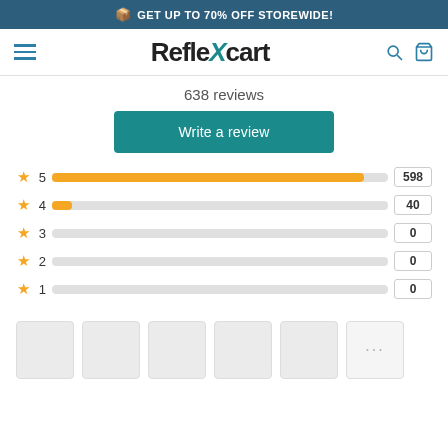GET UP TO 70% OFF STOREWIDE!
[Figure (logo): ReflexCart logo with teal X and cart/search icons]
638 reviews
Write a review
[Figure (bar-chart): Rating distribution]
[Figure (photo): Six thumbnail image placeholders, last one showing '...' for more]